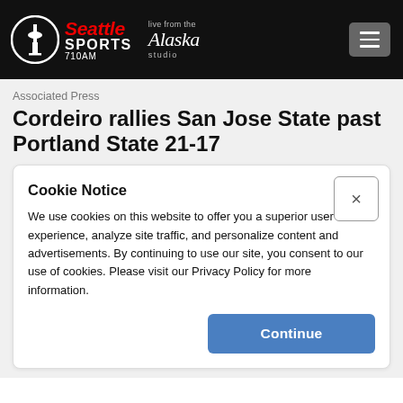Seattle Sports 710AM — Live from the Alaska Studio
Associated Press
Cordeiro rallies San Jose State past Portland State 21-17
Cookie Notice
We use cookies on this website to offer you a superior user experience, analyze site traffic, and personalize content and advertisements. By continuing to use our site, you consent to our use of cookies. Please visit our Privacy Policy for more information.
Continue